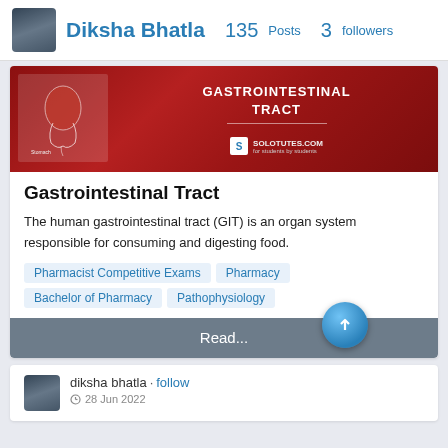Diksha Bhatla  135 Posts  3 followers
[Figure (screenshot): Banner image for Gastrointestinal Tract article with red blood cell background and GIT anatomy diagram on the left, SOLOTUTES.COM branding]
Gastrointestinal Tract
The human gastrointestinal tract (GIT) is an organ system responsible for consuming and digesting food.
Pharmacist Competitive Exams
Pharmacy
Bachelor of Pharmacy
Pathophysiology
Read...
diksha bhatla · follow